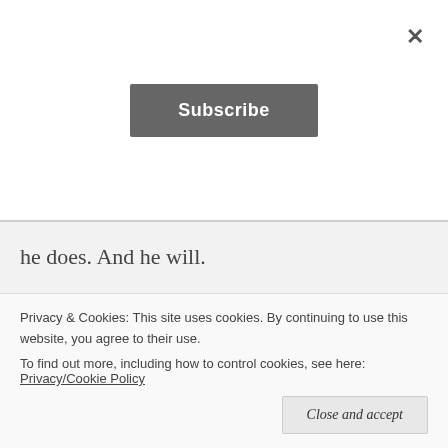[Figure (screenshot): Subscribe button (dark grey rounded rectangle with white bold text 'Subscribe') centered in white area]
he does. And he will.
When Amy Carmichael stepped off a boat onto the shores of India for the first time she looked around at all the people and noticed one thing. They had brown eyes.
Privacy & Cookies: This site uses cookies. By continuing to use this website, you agree to their use.
To find out more, including how to control cookies, see here: Privacy/Cookie Policy
Close and accept